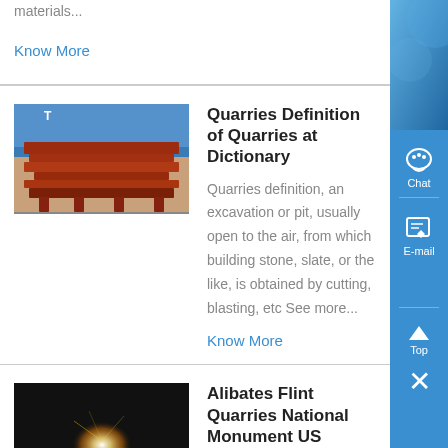materials...
Know More
[Figure (photo): Industrial quarry equipment with red steel frames, blue tarpaulin in background]
Quarries Definition of Quarries at Dictionary
Quarries definition, an excavation or pit, usually open to the air, from which building stone, slate, or the like, is obtained by cutting, blasting, etc See more...
Know More
[Figure (photo): Dark image of Alibates Flint Quarries with a bright light source]
Alibates Flint Quarries National Monument US National ,
Visit the Alibates Quarries, dug by Native Americans who were in search of